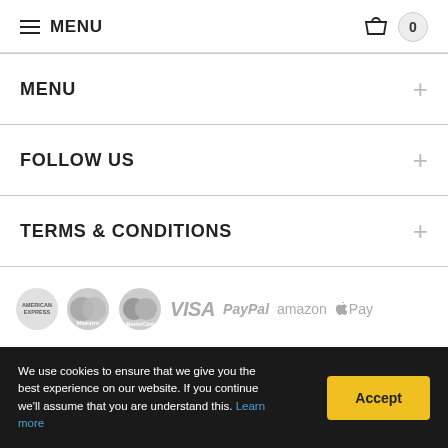MENU | 0
MENU
FOLLOW US
TERMS & CONDITIONS
[Figure (logo): Payment method logos: American Express, Maestro, MasterCard, VISA, PayPal, amazon, Apple Pay]
We use cookies to ensure that we give you the best experience on our website. If you continue we'll assume that you are understand this. Learn more
Accept